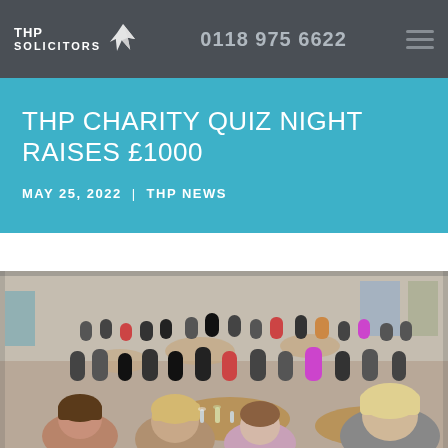THP SOLICITORS | 0118 975 6622
THP CHARITY QUIZ NIGHT RAISES £1000
MAY 25, 2022 | THP NEWS
[Figure (photo): A busy hall with many people seated at round tables participating in a charity quiz night. People are eating, drinking and socialising. The room is full with people of various ages.]